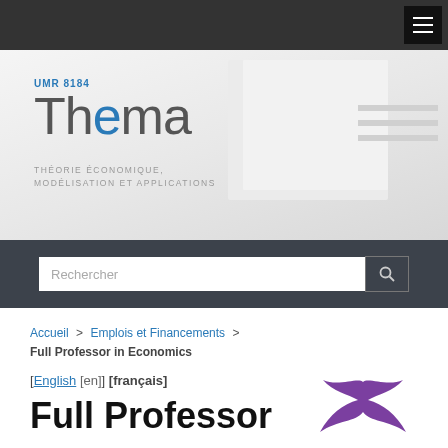[Figure (logo): THEMA UMR 8184 logo with subtitle THÉORIE ÉCONOMIQUE, MODÉLISATION ET APPLICATIONS on a grey geometric background]
Rechercher
Accueil > Emplois et Financements > Full Professor in Economics
[English [en]] [français]
Full Professor